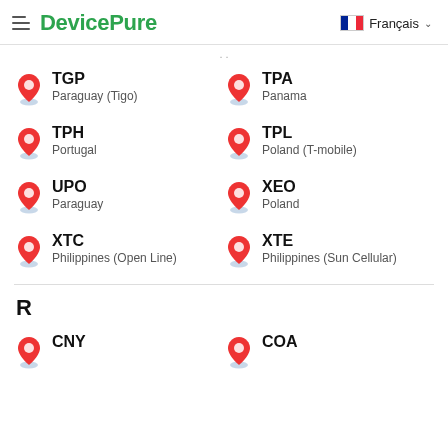DevicePure — Français
TGP — Paraguay (Tigo)
TPA — Panama
TPH — Portugal
TPL — Poland (T-mobile)
UPO — Paraguay
XEO — Poland
XTC — Philippines (Open Line)
XTE — Philippines (Sun Cellular)
R
CNY
COA